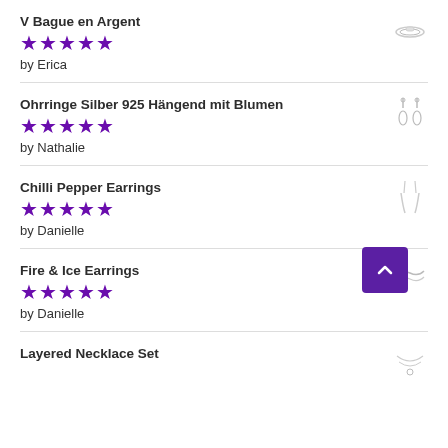V Bague en Argent
★★★★★
by Erica
Ohrringe Silber 925 Hängend mit Blumen
★★★★★
by Nathalie
Chilli Pepper Earrings
★★★★★
by Danielle
Fire & Ice Earrings
★★★★★
by Danielle
Layered Necklace Set